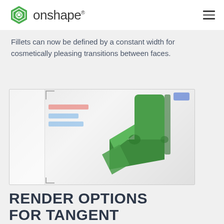onshape
Fillets can now be defined by a constant width for cosmetically pleasing transitions between faces.
[Figure (screenshot): Screenshot of Onshape CAD software showing a 3D model of a green L-shaped bracket/part with fillet features applied, displayed in the modeling environment.]
RENDER OPTIONS FOR TANGENT EDGES